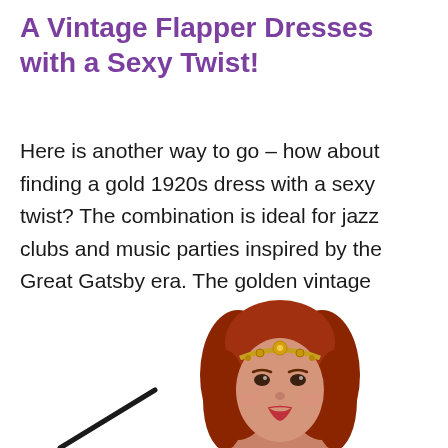A Vintage Flapper Dresses with a Sexy Twist!
Here is another way to go – how about finding a gold 1920s dress with a sexy twist? The combination is ideal for jazz clubs and music parties inspired by the Great Gatsby era. The golden vintage flapper dress will ensure that you look amazing.
[Figure (illustration): Partial illustration of a woman with red hair wearing a gold headband/tiara, viewed from roughly the shoulders up, in a vintage flapper style. Only the upper portion of the figure is visible at the bottom of the page.]